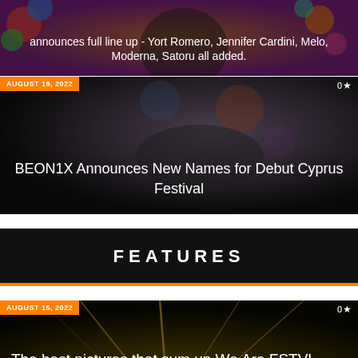[Figure (photo): Partially visible festival card with colorful Day of the Dead style decorative flowers and skull imagery]
announces full line up - Yort Romero, Jennifer Cardini, Melo, Moderna, Satoru all added.
[Figure (photo): Festival event card with dark background and colorful imagery for BEON1X Cyprus Festival]
AUGUST 19, 2022
0 ★
BEON1X Announces New Names for Debut Cyprus Festival
FEATURES
[Figure (photo): Dark festival photo card with golden light streaks for We Are FSTVL 2022]
AUGUST 15, 2022
0 ★
The best pictures that sum up We Are FSTVL 2022
[Figure (photo): Dark card for Location article, partially visible]
JULY 19, 2022
0 ★
Location, Location, Location - check the 3 locations